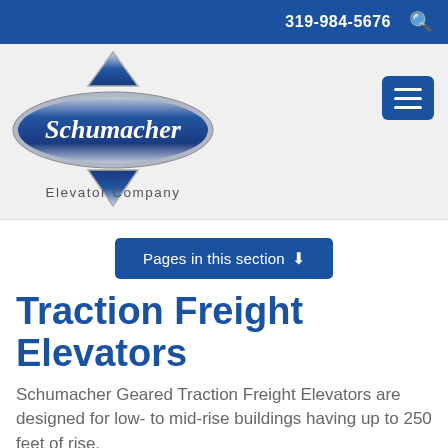319-984-5676
[Figure (logo): Schumacher Elevator Company logo with blue oval, silver border, diamond/arrow shapes above and below, and text 'Schumacher' in script and 'Elevator Company' below]
Pages in this section ↧
Traction Freight Elevators
Schumacher Geared Traction Freight Elevators are designed for low- to mid-rise buildings having up to 250 feet of rise.